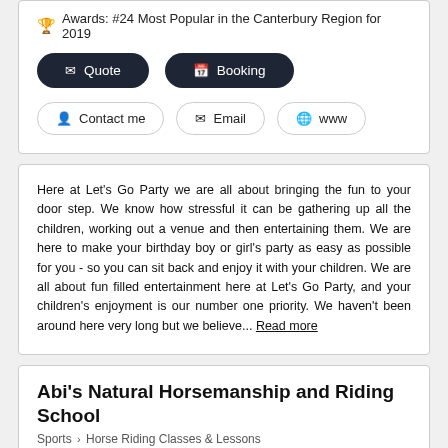🏆 Awards: #24 Most Popular in the Canterbury Region for 2019
✉ Quote  📅 Booking
👤 Contact me  ✉ Email  🌐 www
Here at Let's Go Party we are all about bringing the fun to your door step. We know how stressful it can be gathering up all the children, working out a venue and then entertaining them. We are here to make your birthday boy or girl's party as easy as possible for you - so you can sit back and enjoy it with your children. We are all about fun filled entertainment here at Let's Go Party, and your children's enjoyment is our number one priority. We haven't been around here very long but we believe... Read more
Abi's Natural Horsemanship and Riding School
Sports > Horse Riding Classes & Lessons
Featured Listing - Bronze